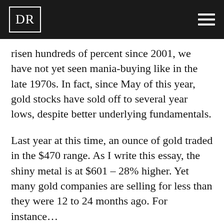DR
risen hundreds of percent since 2001, we have not yet seen mania-buying like in the late 1970s. In fact, since May of this year, gold stocks have sold off to several year lows, despite better underlying fundamentals.
Last year at this time, an ounce of gold traded in the $470 range. As I write this essay, the shiny metal is at $601 – 28% higher. Yet many gold companies are selling for less than they were 12 to 24 months ago. For instance…
IAMGOLD is a junior mining company (market cap of $1.5 billion) with 4.6 million ounces of proven and probable gold reserves. At $8.50 a share, it is trading for the same price it traded for back in December